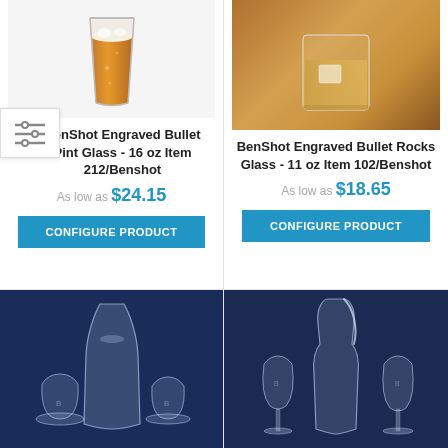[Figure (photo): BenShot Engraved Bullet Pint Glass product photo on white background]
BenShot Engraved Bullet Pint Glass - 16 oz Item 212/Benshot
As low as $24.15
CONFIGURE PRODUCT
[Figure (photo): BenShot Engraved Bullet Rocks Glass product photo on wooden background]
BenShot Engraved Bullet Rocks Glass - 11 oz Item 102/Benshot
As low as $18.65
CONFIGURE PRODUCT
[Figure (photo): Glass decanter and two stemless wine glasses on dark blue background]
[Figure (photo): Glass decanter and two stemmed wine glasses on dark blue background]